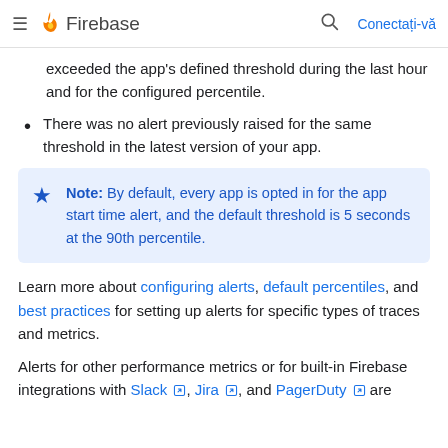Firebase — Conectați-vă
exceeded the app's defined threshold during the last hour and for the configured percentile.
There was no alert previously raised for the same threshold in the latest version of your app.
Note: By default, every app is opted in for the app start time alert, and the default threshold is 5 seconds at the 90th percentile.
Learn more about configuring alerts, default percentiles, and best practices for setting up alerts for specific types of traces and metrics.
Alerts for other performance metrics or for built-in Firebase integrations with Slack, Jira, and PagerDuty are